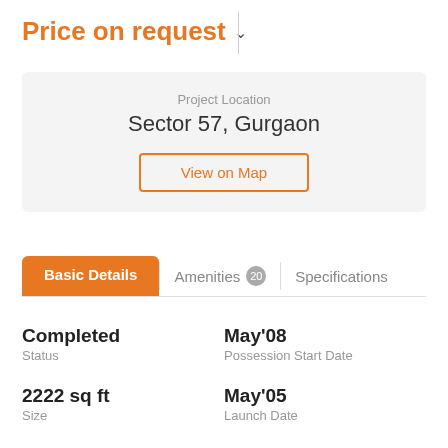Price on request
Project Location
Sector 57, Gurgaon
View on Map
Basic Details | Amenities 20 | Specifications
Completed
Status
May'08
Possession Start Date
2222 sq ft
Size
May'05
Launch Date